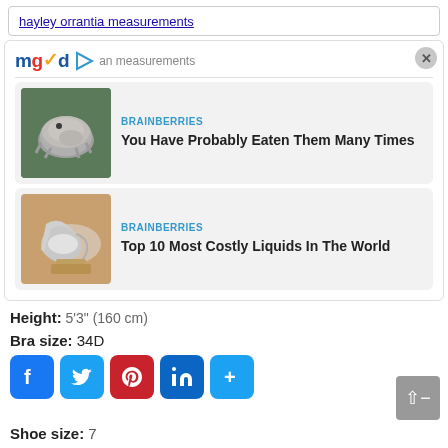hayley orrantia measurements
[Figure (screenshot): MGID advertising widget with close button, showing mgid logo with play button and 'an measurements' overlay text]
[Figure (photo): Card 1 - BRAINBERRIES: You Have Probably Eaten Them Many Times, with image of tardigrade/water bear]
[Figure (photo): Card 2 - BRAINBERRIES: Top 10 Most Costly Liquids In The World, with image of liquid metal on fingers]
Height: 5'3" (160 cm)
Bra size: 34D
[Figure (infographic): Social sharing buttons: Facebook, Twitter, Pinterest, LinkedIn, More]
Shoe size: 7